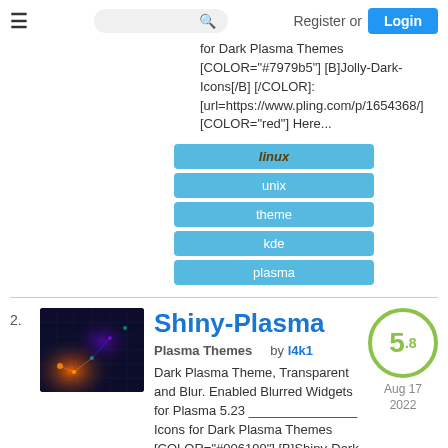Register or Login
for Dark Plasma Themes [COLOR="#7979b5"] [B]Jolly-Dark-Icons[/B] [/COLOR]: [url=https://www.pling.com/p/1654368/] [COLOR="red"] Here...
linux
unix
theme
kde
plasma
2. Shiny-Plasma
Plasma Themes by l4k1
Dark Plasma Theme, Transparent and Blur. Enabled Blurred Widgets for Plasma 5.23 _______________ Icons for Dark Plasma Themes [COLOR="#006199"] [B]Shiny-Dark-Icons[/B] [/COLOR]: [url=https://www.pling.com/p/1633309/] [COLOR="red"] Here [/COLOR][/url]